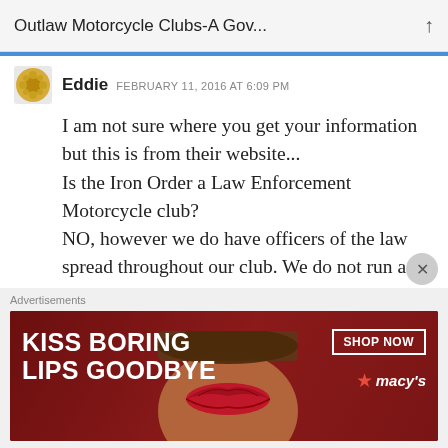Outlaw Motorcycle Clubs-A Gov...
Eddie  FEBRUARY 11, 2016 AT 6:09 PM
I am not sure where you get your information but this is from their website...
Is the Iron Order a Law Enforcement Motorcycle club?
NO, however we do have officers of the law spread throughout our club. We do not run as an LEMC. We run like an MC from the 50's and early 60's
[Figure (illustration): Advertisement banner: KISS BORING LIPS GOODBYE with SHOP NOW and macys logo]
Advertisements